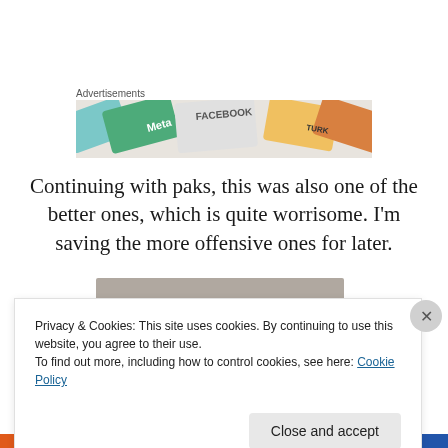Advertisements
[Figure (photo): Advertisement banner showing colorful cards including Meta and Facebook logos]
Continuing with paks, this was also one of the better ones, which is quite worrisome. I’m saving the more offensive ones for later.
[Figure (photo): Blurred/obscured image content]
Privacy & Cookies: This site uses cookies. By continuing to use this website, you agree to their use.
To find out more, including how to control cookies, see here: Cookie Policy
Close and accept